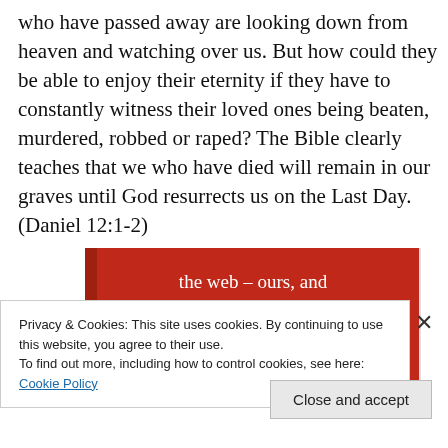who have passed away are looking down from heaven and watching over us. But how could they be able to enjoy their eternity if they have to constantly witness their loved ones being beaten, murdered, robbed or raped? The Bible clearly teaches that we who have died will remain in our graves until God resurrects us on the Last Day. (Daniel 12:1-2)
[Figure (other): Red advertisement banner with white text reading 'the web – ours, and everyone else's.' with a black 'Start reading' button]
Privacy & Cookies: This site uses cookies. By continuing to use this website, you agree to their use.
To find out more, including how to control cookies, see here: Cookie Policy
Close and accept